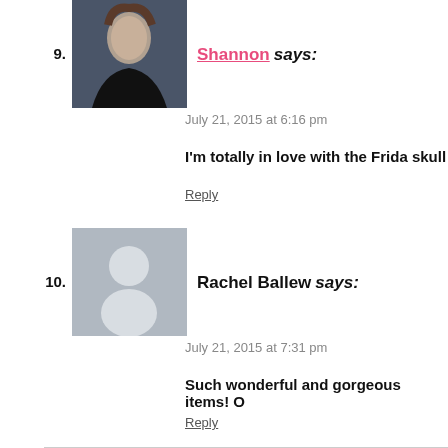[Figure (photo): Profile photo of Shannon, a woman with dark brown hair wearing a black jacket, against a dark background]
9. Shannon says:
July 21, 2015 at 6:16 pm
I'm totally in love with the Frida skull
Reply
[Figure (photo): Default avatar placeholder — gray square with white silhouette of a person]
10. Rachel Ballew says:
July 21, 2015 at 7:31 pm
Such wonderful and gorgeous items! O
Reply